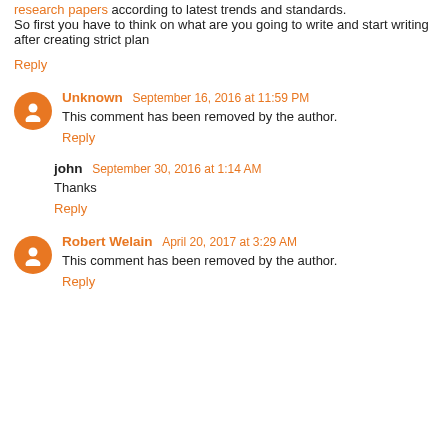research papers according to latest trends and standards. So first you have to think on what are you going to write and start writing after creating strict plan
Reply
Unknown  September 16, 2016 at 11:59 PM
This comment has been removed by the author.
Reply
john  September 30, 2016 at 1:14 AM
Thanks
Reply
Robert Welain  April 20, 2017 at 3:29 AM
This comment has been removed by the author.
Reply